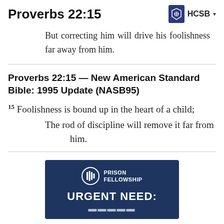Proverbs 22:15
But correcting him will drive his foolishness far away from him.
Proverbs 22:15 — New American Standard Bible: 1995 Update (NASB95)
15 Foolishness is bound up in the heart of a child; The rod of discipline will remove it far from him.
[Figure (logo): Prison Fellowship advertisement banner with logo and text URGENT NEED:]